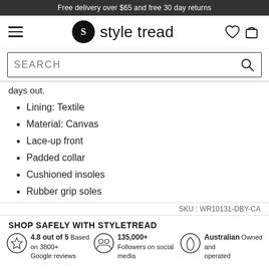Free delivery over $65 and free 30 day returns
[Figure (logo): Style Tread logo with hamburger menu, heart and bag icons]
[Figure (screenshot): Search bar with SEARCH placeholder and magnifying glass icon]
days out.
Lining: Textile
Material: Canvas
Lace-up front
Padded collar
Cushioned insoles
Rubber grip soles
SKU : WR10131-DBY-CA
SHOP SAFELY WITH STYLETREAD
4.8 out of 5 Based on 3800+ Google reviews
135,000+ Followers on social media
Australian Owned and operated